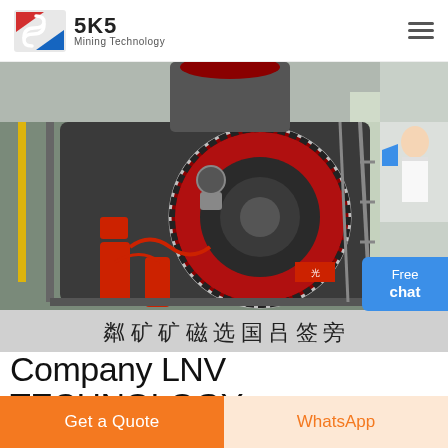SKS Mining Technology
[Figure (photo): Industrial mining machinery — large crusher/mill unit with red circular gear/flywheel, black housing, mounted on metal frame inside a factory building. Chinese text banner visible at bottom of image reading partial characters. A woman figure with chat bubble appears at right edge.]
Company LNV TECHNOLOGY
The company's strong and State of the Art manufacturing
Get a Quote
WhatsApp